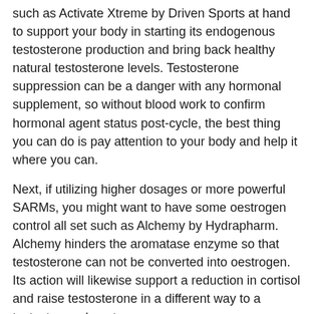such as Activate Xtreme by Driven Sports at hand to support your body in starting its endogenous testosterone production and bring back healthy natural testosterone levels. Testosterone suppression can be a danger with any hormonal supplement, so without blood work to confirm hormonal agent status post-cycle, the best thing you can do is pay attention to your body and help it where you can.
Next, if utilizing higher dosages or more powerful SARMs, you might want to have some oestrogen control all set such as Alchemy by Hydrapharm. Alchemy hinders the aromatase enzyme so that testosterone can not be converted into oestrogen. Its action will likewise support a reduction in cortisol and raise testosterone in a different way to a testosterone booster.
You may desire to cycle SARMs with natural muscle home builders to put yourself in the best possible position to maintain gains made on cycle and continue to progress. Our favourites for lean mass include Adamantine by